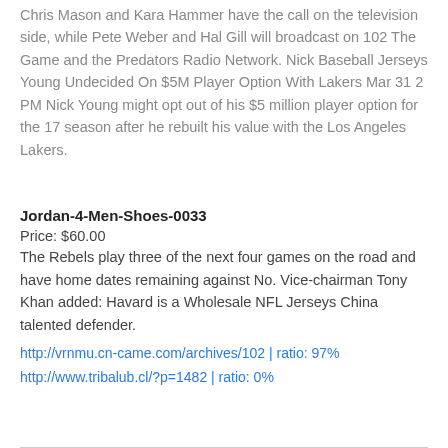Chris Mason and Kara Hammer have the call on the television side, while Pete Weber and Hal Gill will broadcast on 102 The Game and the Predators Radio Network. Nick Baseball Jerseys Young Undecided On $5M Player Option With Lakers Mar 31 2 PM Nick Young might opt out of his $5 million player option for the 17 season after he rebuilt his value with the Los Angeles Lakers.
Jordan-4-Men-Shoes-0033
Price: $60.00
The Rebels play three of the next four games on the road and have home dates remaining against No. Vice-chairman Tony Khan added: Havard is a Wholesale NFL Jerseys China talented defender.
http://vrnmu.cn-came.com/archives/102 | ratio: 97%
http://www.tribalub.cl/?p=1482 | ratio: 0%